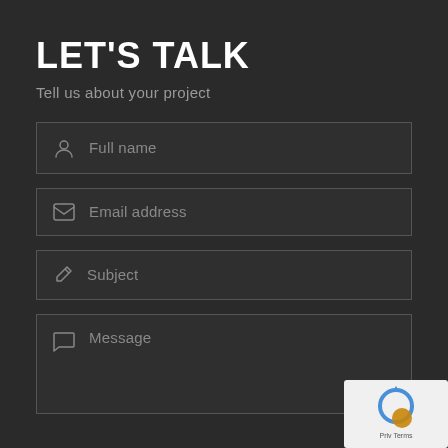LET'S TALK
Tell us about your project
Full name
Email address
Subject
Message
[Figure (logo): Google reCAPTCHA badge in lower right corner showing reCAPTCHA logo with blue arrows and golden/amber circle, with 'Privacy Terms' text]